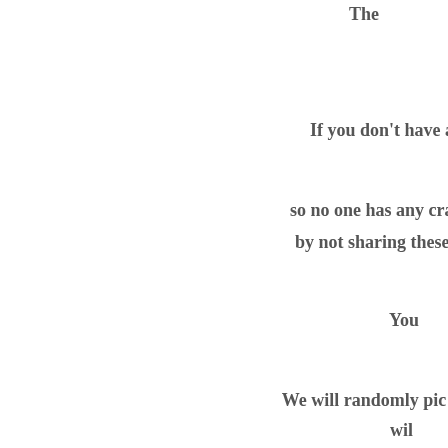If you don't have any
so no one has any craf
by not sharing these i
You
We will randomly pic
wil
All v